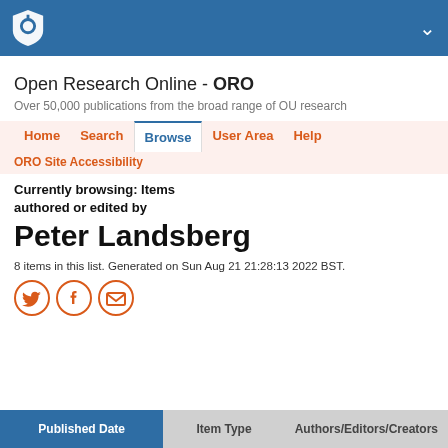Open University logo header with navigation chevron
Open Research Online - ORO
Over 50,000 publications from the broad range of OU research
Home | Search | Browse | User Area | Help | ORO Site Accessibility
Currently browsing: Items authored or edited by
Peter Landsberg
8 items in this list. Generated on Sun Aug 21 21:28:13 2022 BST.
[Figure (infographic): Three social sharing icons: Twitter bird, Facebook f, and envelope/email, all in orange circle outlines]
Published Date | Item Type | Authors/Editors/Creators